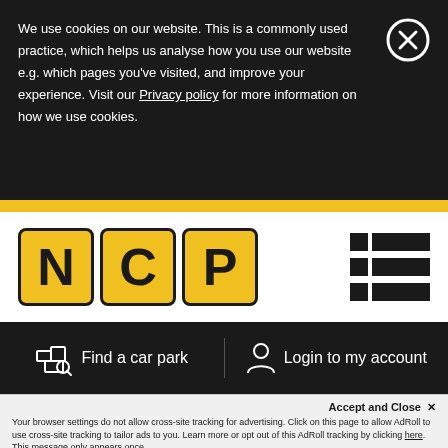We use cookies on our website. This is a commonly used practice, which helps us analyse how you use our website e.g. which pages you've visited, and improve your experience. Visit our Privacy policy for more information on how we use cookies.
[Figure (logo): NCP logo with three yellow rounded squares each containing the letters N, C, P in black bold font]
[Figure (infographic): Hamburger/grid menu icon made of black squares and rectangles]
Find a car park
Login to my account
Accept and Close ✕
Your browser settings do not allow cross-site tracking for advertising. Click on this page to allow AdRoll to use cross-site tracking to tailor ads to you. Learn more or opt out of this AdRoll tracking by clicking here. This message only appears once.